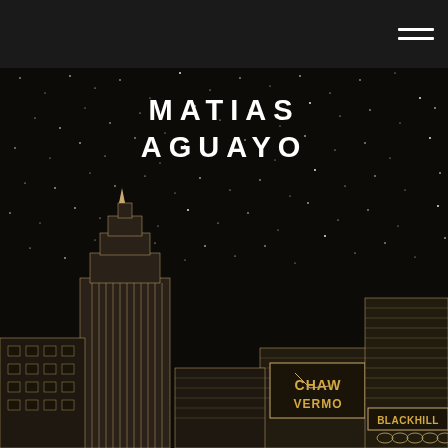MATIAS AGUAYO
[Figure (illustration): Illustrated night cityscape with dark sky full of stars and detailed pen-drawn skyscrapers. Buildings include a tall art-deco tower with vertical stripe windows, mid-rise buildings with a 'CHAW VERMO' billboard/sign, and a building on the right with a 'BLACKHILL' sign and decorative arched facade. The illustration is done in a dark brown/sepia ink style on a black background.]